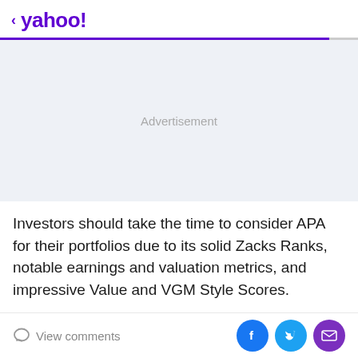< yahoo!
[Figure (other): Advertisement placeholder box with light blue-gray background and 'Advertisement' label in gray text]
Investors should take the time to consider APA for their portfolios due to its solid Zacks Ranks, notable earnings and valuation metrics, and impressive Value and VGM Style Scores.
View comments | [Facebook share] [Twitter share] [Email share]